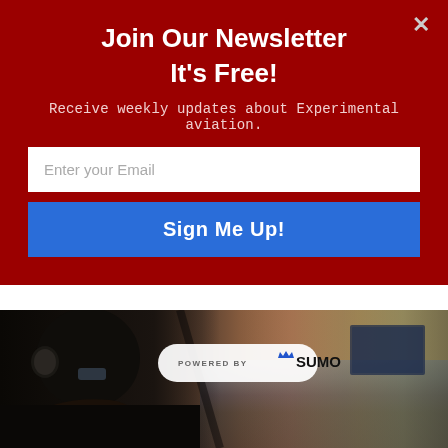Join Our Newsletter
It's Free!
Receive weekly updates about Experimental aviation.
Enter your Email
Sign Me Up!
[Figure (photo): Pilot in cockpit with headset and glasses, cockpit instruments visible, sunset/sky visible through windshield. POWERED BY SUMO badge overlaid.]
Rear Cockpit
Tom Wilson  -  October 19, 2018
Flying glass.